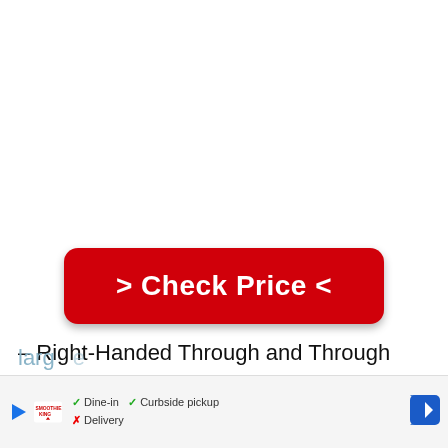[Figure (other): Large red rounded button with white bold text reading '> Check Price <']
– Right-Handed Through and Through
This mouse is one right-handed mouse for large... sign
[Figure (other): Overlay advertisement bar with Smoothie King logo, dine-in/curbside pickup/delivery info, and navigation icon]